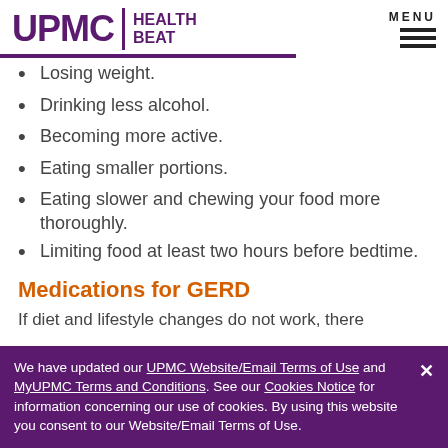UPMC | HEALTH BEAT
Losing weight.
Drinking less alcohol.
Becoming more active.
Eating smaller portions.
Eating slower and chewing your food more thoroughly.
Limiting food at least two hours before bedtime.
Medications for GERD
If diet and lifestyle changes do not work, there are medications that are for each situation. Use...
We have updated our UPMC Website/Email Terms of Use and MyUPMC Terms and Conditions. See our Cookies Notice for information concerning our use of cookies. By using this website you consent to our Website/Email Terms of Use.